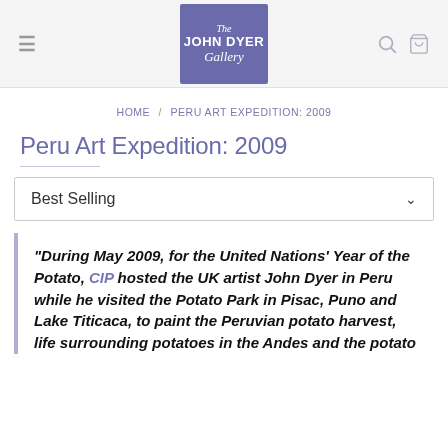The John Dyer Gallery — navigation header with logo, hamburger menu, search and bag icons
HOME / PERU ART EXPEDITION: 2009
Peru Art Expedition: 2009
Best Selling
"During May 2009, for the United Nations' Year of the Potato, CIP hosted the UK artist John Dyer in Peru while he visited the Potato Park in Pisac, Puno and Lake Titicaca, to paint the Peruvian potato harvest, life surrounding potatoes in the Andes and the potato